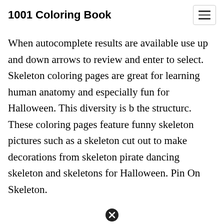1001 Coloring Book
When autocomplete results are available use up and down arrows to review and enter to select. Skeleton coloring pages are great for learning human anatomy and especially fun for Halloween. This diversity is b the structurc. These coloring pages feature funny skeleton pictures such as a skeleton cut out to make decorations from skeleton pirate dancing skeleton and skeletons for Halloween. Pin On Skeleton.